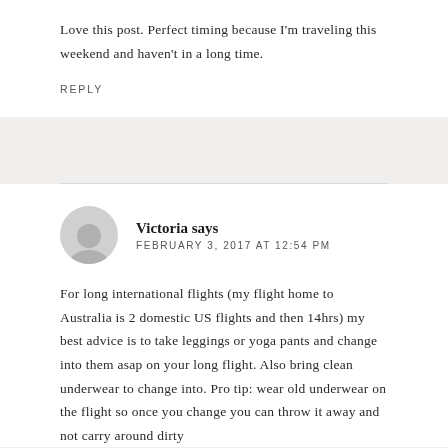Love this post. Perfect timing because I'm traveling this weekend and haven't in a long time.
REPLY
Victoria says
FEBRUARY 3, 2017 AT 12:54 PM
For long international flights (my flight home to Australia is 2 domestic US flights and then 14hrs) my best advice is to take leggings or yoga pants and change into them asap on your long flight. Also bring clean underwear to change into. Pro tip: wear old underwear on the flight so once you change you can throw it away and not carry around dirty